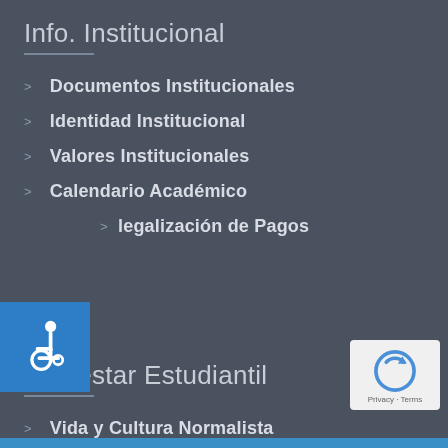Info. Institucional
Documentos Institucionales
Identidad Institucional
Valores Institucionales
Calendario Académico
Legalización de Pagos
[Figure (illustration): Blue accessibility/wheelchair icon square badge]
Bienestar Estudiantil
Vida y Cultura Normalista
Comunicados
[Figure (logo): Google reCAPTCHA logo with Privacy and Terms text]